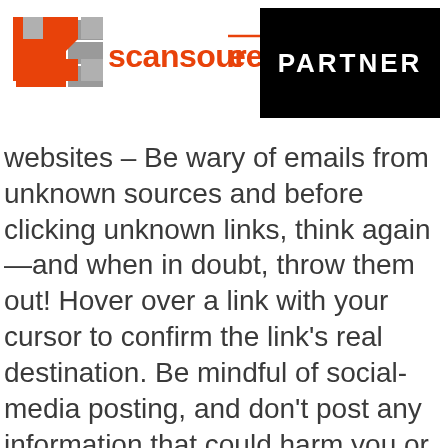[Figure (logo): ScanSource logo — orange/red and grey stylized S icon on left, then red 'scansource' wordmark text with overline on the 'ee']
[Figure (logo): Black rectangle badge with white bold text 'PARTNER']
websites – Be wary of emails from unknown sources and before clicking unknown links, think again—and when in doubt, throw them out! Hover over a link with your cursor to confirm the link's real destination. Be mindful of social-media posting, and don't post any information that could harm you or your company. Avoid using open Wi-Fi whenever